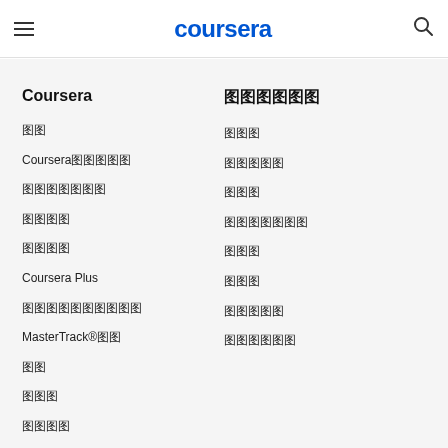coursera
Coursera
关于
Coursera学习者故事
领导力团队成员
职业发展
新闻中心
Coursera Plus
专业证书计划介绍
MasterTrack®证书
学位
企业版
政府版
社区中心
学习者
合作伙伴
开发人员
测试评估系统
翻译
博客
技术博客
教学中心